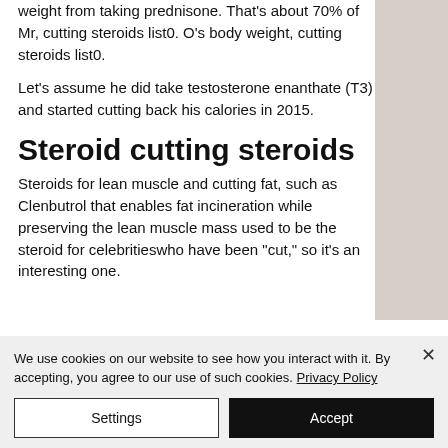weight from taking prednisone. That's about 70% of Mr, cutting steroids list0. O's body weight, cutting steroids list0.
Let's assume he did take testosterone enanthate (T3) and started cutting back his calories in 2015.
Steroid cutting steroids
Steroids for lean muscle and cutting fat, such as Clenbutrol that enables fat incineration while preserving the lean muscle mass used to be the steroid for celebritieswho have been "cut," so it's an interesting one.
[Figure (photo): Right side column showing partial background image with neutral beige/grey tones]
We use cookies on our website to see how you interact with it. By accepting, you agree to our use of such cookies. Privacy Policy
Settings
Accept